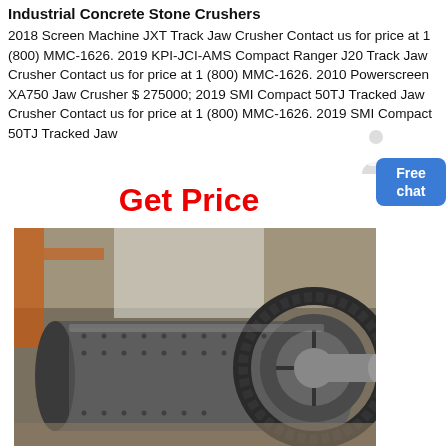Industrial Concrete Stone Crushers
2018 Screen Machine JXT Track Jaw Crusher Contact us for price at 1 (800) MMC-1626. 2019 KPI-JCI-AMS Compact Ranger J20 Track Jaw Crusher Contact us for price at 1 (800) MMC-1626. 2010 Powerscreen XA750 Jaw Crusher $ 275000; 2019 SMI Compact 50TJ Tracked Jaw Crusher Contact us for price at 1 (800) MMC-1626. 2019 SMI Compact 50TJ Tracked Jaw
Get Price
[Figure (photo): Large industrial crusher/mill cylinder with heavy gear ring visible, photographed in a factory or warehouse setting with orange cranes/structures in the background.]